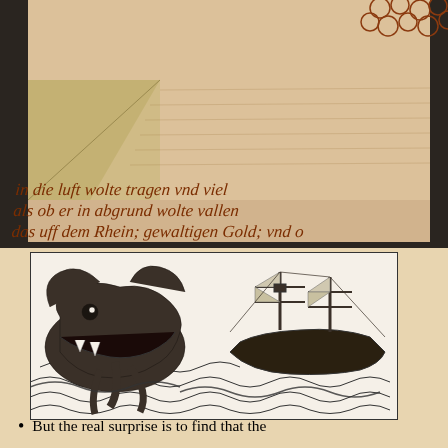[Figure (illustration): Medieval manuscript page with handwritten text in Middle High German cursive script in brown/rust ink on aged parchment, with decorative elements visible at top right. The manuscript shows three lines of Gothic cursive text reading approximately: 'in die luft wolte tragen und viel / als ob er in abgrund wolte vallen / das uff dem Rhein; gewaltigen Gold; und o']
[Figure (illustration): Black and white woodcut engraving depicting a sea monster or large whale attacking a sailing ship. The creature has a large open mouth, and there are dramatic waves. A multi-masted sailing ship is visible on the right side of the image.]
But the real surprise is to find that the